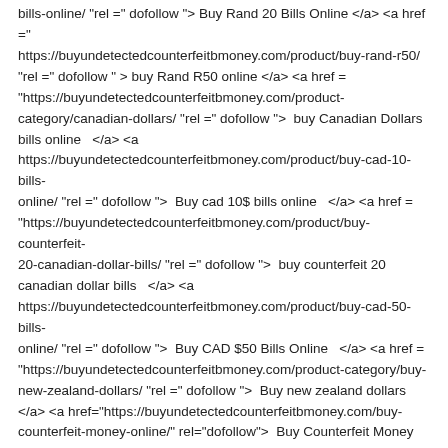bills-online/ "rel =" dofollow "> Buy Rand 20 Bills Online </a> <a href ="https://buyundetectedcounterfeitbmoney.com/product/buy-rand-r50/ "rel =" dofollow " > buy Rand R50 online </a> <a href = "https://buyundetectedcounterfeitbmoney.com/product-category/canadian-dollars/ "rel =" dofollow ">  buy Canadian Dollars bills online   </a> <a https://buyundetectedcounterfeitbmoney.com/product/buy-cad-10-bills-online/ "rel =" dofollow ">  Buy cad 10$ bills online   </a> <a href = "https://buyundetectedcounterfeitbmoney.com/product/buy-counterfeit-20-canadian-dollar-bills/ "rel =" dofollow ">  buy counterfeit 20 canadian dollar bills   </a> <a https://buyundetectedcounterfeitbmoney.com/product/buy-cad-50-bills-online/ "rel =" dofollow ">  Buy CAD $50 Bills Online   </a> <a href = "https://buyundetectedcounterfeitbmoney.com/product-category/buy-new-zealand-dollars/ "rel =" dofollow ">  Buy new zealand dollars </a> <a href="https://buyundetectedcounterfeitbmoney.com/buy-counterfeit-money-online/" rel="dofollow">  Buy Counterfeit Money Online   </a> <a href="https://buyundetectedcounterfeitbmoney.com/product-tag/counterfeit-100-dollar-bills-canadian/" rel="dofollow">  Counterfeit 100 dollar bills Canadian   </a> <a href="https://buyundetectedcounterfeitbmoney.com/undetectable-counterfeit-banknotes/" rel="dofollow">  Undetectable Counterfeit Banknotes   </a> <a href="https://buyundetectedcounterfeitbmoney.com/category/buy-